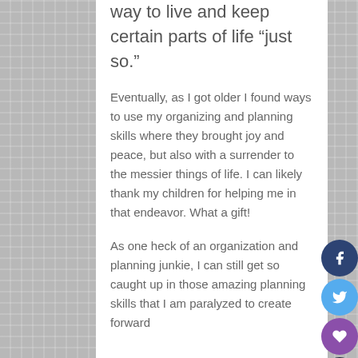way to live and keep certain parts of life “just so.”
Eventually, as I got older I found ways to use my organizing and planning skills where they brought joy and peace, but also with a surrender to the messier things of life. I can likely thank my children for helping me in that endeavor. What a gift!
As one heck of an organization and planning junkie, I can still get so caught up in those amazing planning skills that I am paralyzed to create forward